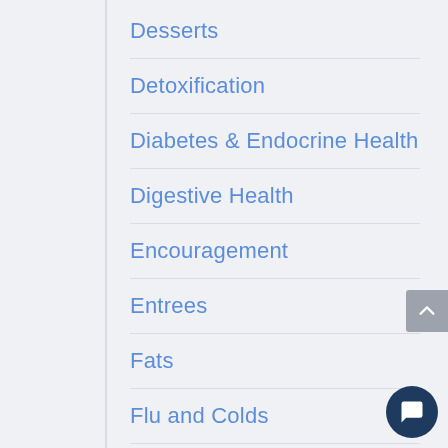Desserts
Detoxification
Diabetes & Endocrine Health
Digestive Health
Encouragement
Entrees
Fats
Flu and Colds
Foods
Fruits
Fruits & Veggies